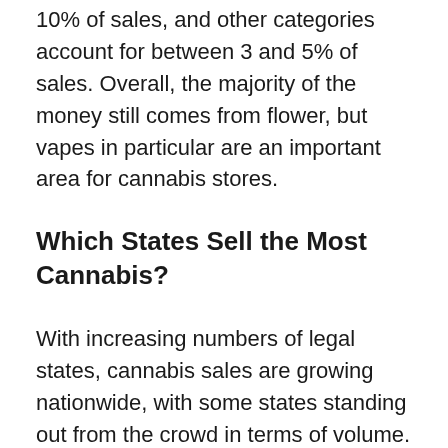10% of sales, and other categories account for between 3 and 5% of sales. Overall, the majority of the money still comes from flower, but vapes in particular are an important area for cannabis stores.
Which States Sell the Most Cannabis?
With increasing numbers of legal states, cannabis sales are growing nationwide, with some states standing out from the crowd in terms of volume. New Frontier has arranged the sales data into a top 10 in terms of revenue for 2020, with California leading the pack with a massive $4.98 billion in sales, Colorado following with $2.16 billion and then Washington with $1.34 billion. The remaining states all have around $1 billion, with Oklahoma at the bottom of the pack with $0.78 billion in sales.